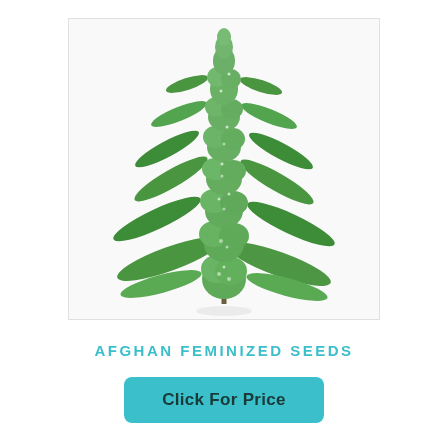[Figure (photo): A tall cannabis plant (Afghan strain) with dense green buds and leaves covered in trichomes, photographed against a white background. The plant is elongated and columnar with multiple bud sites along a central stem.]
AFGHAN FEMINIZED SEEDS
Click For Price